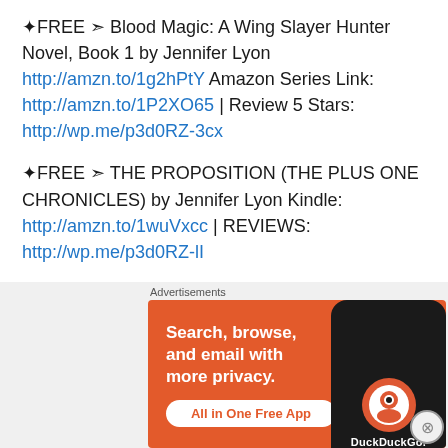✦FREE ➣ Blood Magic: A Wing Slayer Hunter Novel, Book 1 by Jennifer Lyon http://amzn.to/1g2hPtY Amazon Series Link: http://amzn.to/1P2XO65 | Review 5 Stars: http://wp.me/p3d0RZ-3cx
✦FREE ➣ THE PROPOSITION (THE PLUS ONE CHRONICLES) by Jennifer Lyon Kindle: http://amzn.to/1wuVxcc | REVIEWS: http://wp.me/p3d0RZ-lI
✦FREE ➣ Ruined by a Rake – An All's Fair in Love Novella by Erin Knightley http://amzn.to/1F6PRlJt
[Figure (screenshot): DuckDuckGo advertisement banner: 'Search, browse, and email with more privacy. All in One Free App' with DuckDuckGo logo and phone image on orange background.]